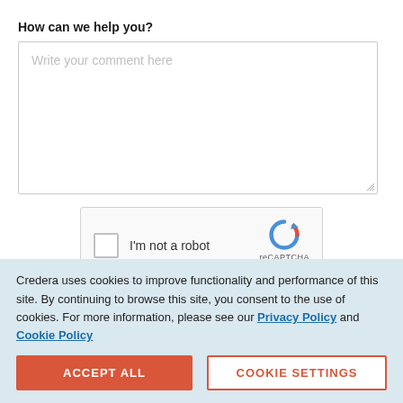How can we help you?
[Figure (screenshot): Text area input box with placeholder text 'Write your comment here']
[Figure (screenshot): reCAPTCHA widget with checkbox and 'I'm not a robot' label, reCAPTCHA logo, Privacy and Terms links]
Credera uses cookies to improve functionality and performance of this site. By continuing to browse this site, you consent to the use of cookies. For more information, please see our Privacy Policy and Cookie Policy
ACCEPT ALL
COOKIE SETTINGS